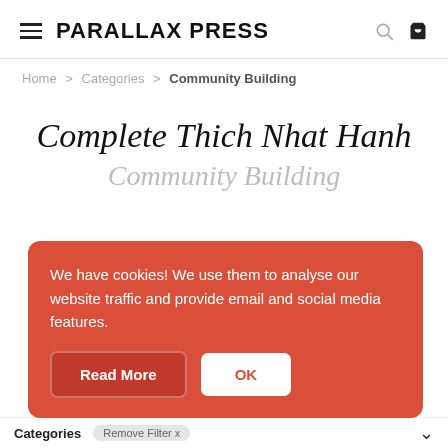PARALLAX PRESS
Home > Categories > Community Building
Complete Thich Nhat Hanh Community Building
We have cookies! We use them to analyse our website traffic and provide email and social media features.
Read More  OK
Categories  Remove Filter x